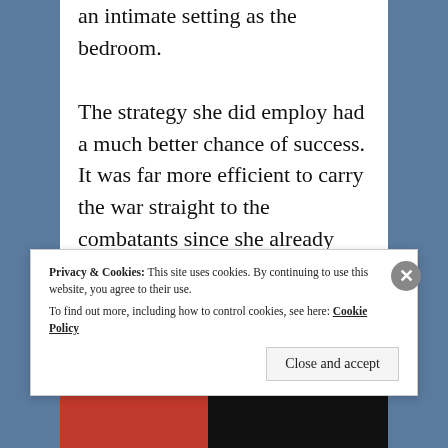an intimate setting as the bedroom.

The strategy she did employ had a much better chance of success. It was far more efficient to carry the war straight to the combatants since she already attended a staggering round of social events. Of course, it put people in a bustle if one discussed politics at routs, turtle breakfasts
Privacy & Cookies: This site uses cookies. By continuing to use this website, you agree to their use.
To find out more, including how to control cookies, see here: Cookie Policy